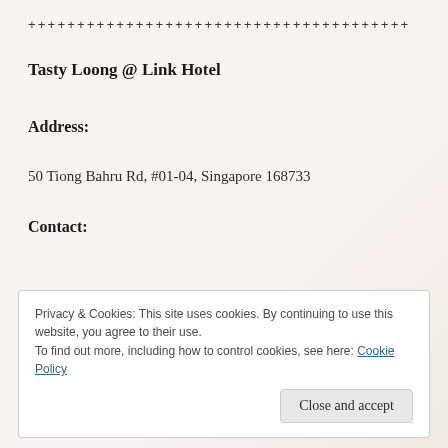++++++++++++++++++++++++++++++++++++++
Tasty Loong @ Link Hotel
Address:
50 Tiong Bahru Rd, #01-04, Singapore 168733
Contact:
https://www.tastyloong.com/
Privacy & Cookies: This site uses cookies. By continuing to use this website, you agree to their use.
To find out more, including how to control cookies, see here: Cookie Policy